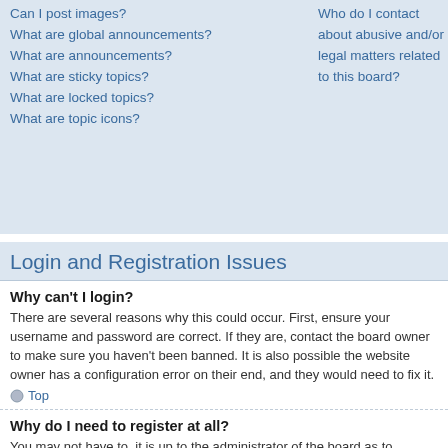Can I post images?
What are global announcements?
What are announcements?
What are sticky topics?
What are locked topics?
What are topic icons?
Who do I contact about abusive and/or legal matters related to this board?
Login and Registration Issues
Why can't I login?
There are several reasons why this could occur. First, ensure your username and password are correct. If they are, contact the board owner to make sure you haven't been banned. It is also possible the website owner has a configuration error on their end, and they would need to fix it.
Why do I need to register at all?
You may not have to, it is up to the administrator of the board as to whether you need to register in order to post messages. However; registration will give you access to additional features not available to guest users such as definable avatar images, private messaging, emailing of fellow users, usergroup subscription, etc. It only takes a few moments to register so it is recommended you do so.
Why do I get logged off automatically?
If you do not check the Log me in automatically box when you login, the board will only keep you logged in for a preset time. This prevents misuse of your account by anyone else. To stay logged in, check the box during login. This is not recommended if you access the board from a shared computer, e.g. library, internet cafe, university computer lab, etc.